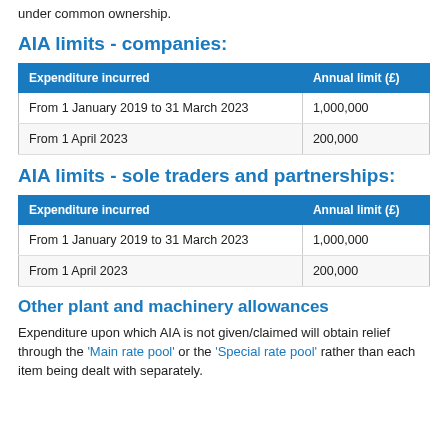under common ownership.
AIA limits - companies:
| Expenditure incurred | Annual limit (£) |
| --- | --- |
| From 1 January 2019 to 31 March 2023 | 1,000,000 |
| From 1 April 2023 | 200,000 |
AIA limits - sole traders and partnerships:
| Expenditure incurred | Annual limit (£) |
| --- | --- |
| From 1 January 2019 to 31 March 2023 | 1,000,000 |
| From 1 April 2023 | 200,000 |
Other plant and machinery allowances
Expenditure upon which AIA is not given/claimed will obtain relief through the 'Main rate pool' or the 'Special rate pool' rather than each item being dealt with separately.